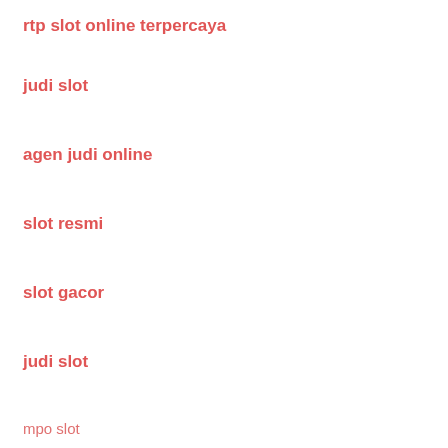rtp slot online terpercaya
judi slot
agen judi online
slot resmi
slot gacor
judi slot
mpo slot